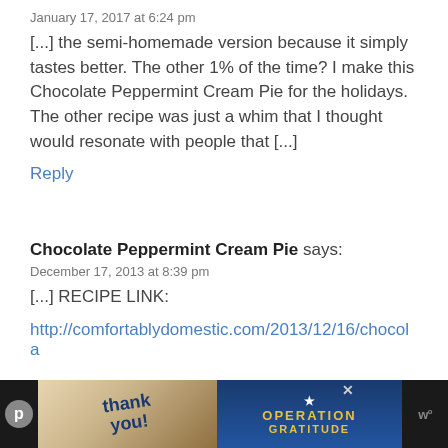January 17, 2017 at 6:24 pm
[...] the semi-homemade version because it simply tastes better. The other 1% of the time? I make this Chocolate Peppermint Cream Pie for the holidays. The other recipe was just a whim that I thought would resonate with people that [...]
Reply
Chocolate Peppermint Cream Pie says:
December 17, 2013 at 8:39 pm
[...] RECIPE LINK:
http://comfortablydomestic.com/2013/12/16/chocola
[Figure (screenshot): Advertisement banner at bottom of page showing 'Thank you!' text with a military group photo and 'Operation Gratitude' logo, with social media icons on sides]